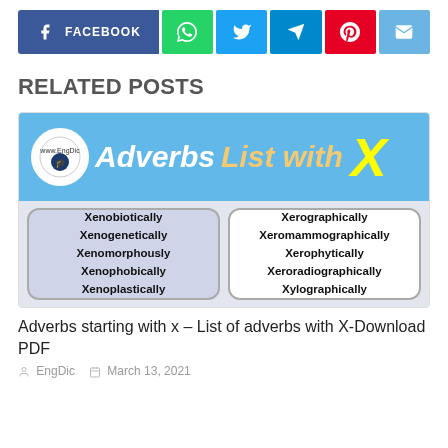[Figure (other): Social share buttons row: Facebook (dark blue), WhatsApp (green), Twitter (light blue), Telegram (blue), Pinterest (red), Email (light blue)]
RELATED POSTS
[Figure (illustration): Adverbs List with X – educational graphic banner with word lists: Xenobiotically, Xenogenetically, Xenomorphously, Xenophobically, Xenoplastically (left); Xerographically, Xeromammographically, Xerophytically, Xeroradiographically, Xylographically (right)]
Adverbs starting with x – List of adverbs with X-Download PDF
EngDic   March 13, 2021